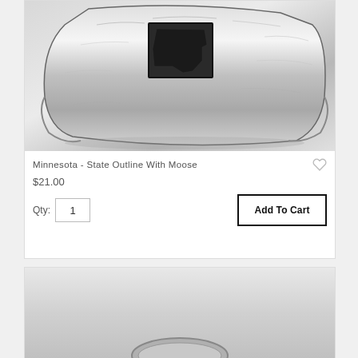[Figure (photo): Silver hammered cuff bracelet with state outline of Minnesota with moose cutout, photographed on white background]
Minnesota - State Outline With Moose
$21.00
Qty: 1  Add To Cart
[Figure (photo): Partial view of another silver jewelry product — second product card, bottom of page]